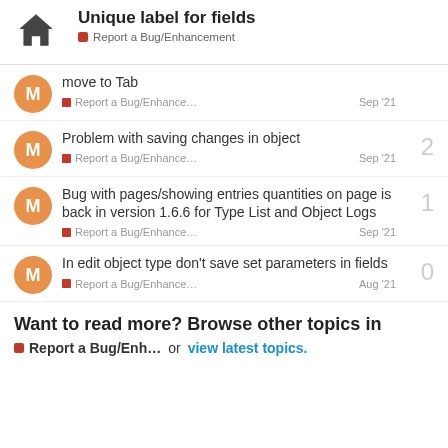Unique label for fields — Report a Bug/Enhancement
move to Tab — Report a Bug/Enhance… — Sep '21
Problem with saving changes in object — Report a Bug/Enhance… — Sep '21 — replies: 2
Bug with pages/showing entries quantities on page is back in version 1.6.6 for Type List and Object Logs — Report a Bug/Enhance… — Sep '21 — replies: 1
In edit object type don't save set parameters in fields — Report a Bug/Enhance… — Aug '21 — replies: 0
Want to read more? Browse other topics in Report a Bug/Enh… or view latest topics.